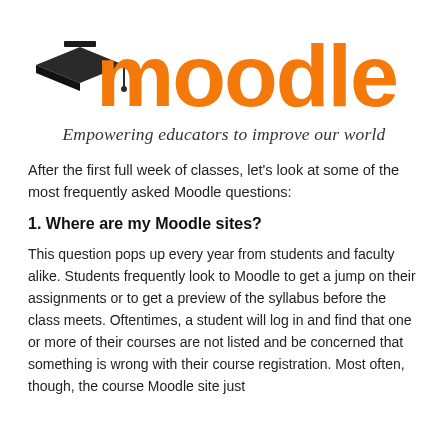[Figure (logo): Moodle logo: graduation cap on the letter 'm', followed by 'oodle' in orange, with tagline 'Empowering educators to improve our world' in cursive below]
After the first full week of classes, let's look at some of the most frequently asked Moodle questions:
1. Where are my Moodle sites?
This question pops up every year from students and faculty alike. Students frequently look to Moodle to get a jump on their assignments or to get a preview of the syllabus before the class meets. Oftentimes, a student will log in and find that one or more of their courses are not listed and be concerned that something is wrong with their course registration. Most often, though, the course Moodle site just